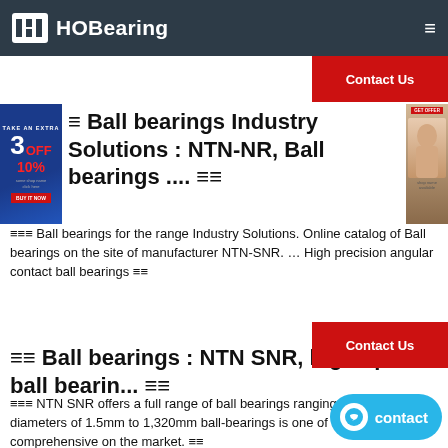HOBearing
[Figure (logo): HOBearing logo with H icon and hamburger menu]
≡ Ball bearings Industry Solutions : NTN-NR, Ball bearings .... ≡≡
≡≡≡ Ball bearings for the range Industry Solutions. Online catalog of Ball bearings on the site of manufacturer NTN-SNR. ... High precision angular contact ball bearings ≡≡
≡≡ Ball bearings : NTN SNR, high speed ball bearin... ≡≡
≡≡≡ NTN SNR offers a full range of ball bearings ranging from bore diameters of 1.5mm to 1,320mm ball-bearings is one of the broadest and comprehensive on the market. ≡≡